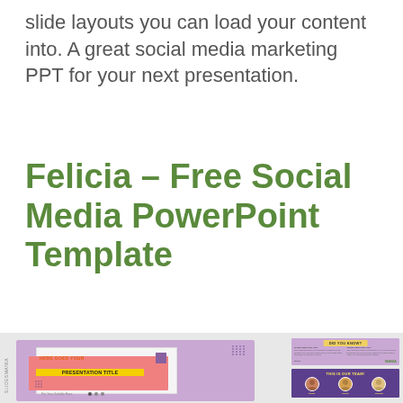slide layouts you can load your content into. A great social media marketing PPT for your next presentation.
Felicia – Free Social Media PowerPoint Template
[Figure (screenshot): Preview thumbnails of the Felicia PowerPoint template slides, showing a purple-themed title slide with 'HERE GOES YOUR PRESENTATION TITLE', a 'DID YOU KNOW?' info slide, and a 'THIS IS OUR TEAM!' slide with avatar placeholders.]